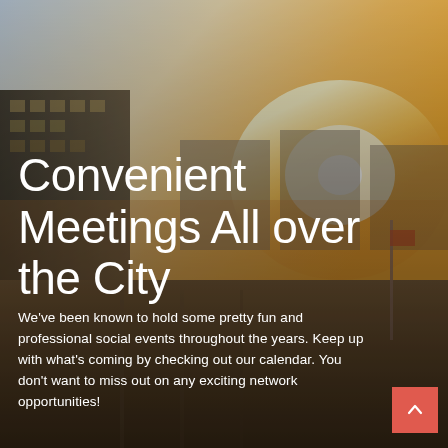[Figure (photo): Aerial view of a city street at sunset/golden hour, with commercial buildings on the left and warm glowing light on the right. An American flag is visible in the background.]
Convenient Meetings All over the City
We've been known to hold some pretty fun and professional social events throughout the years. Keep up with what's coming by checking out our calendar. You don't want to miss out on any exciting network opportunities!